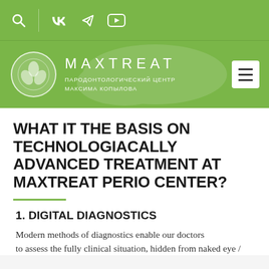[Figure (screenshot): Top navigation bar with green background showing search icon, VK icon, Telegram icon, and YouTube icon in white]
[Figure (logo): Maxtreat logo bar with green background: circular emblem on left, MAXTREAT text in large spaced letters, subtitle ПАРОДОНТОЛОГИЧЕСКИЙ ЦЕНТР МАКСИМА КОПЫЛОВА, and hamburger menu button on right]
WHAT IT THE BASIS ON TECHNOLOGIACALLY ADVANCED TREATMENT AT MAXTREAT PERIO CENTER?
1. DIGITAL DIAGNOSTICS
Modern methods of diagnostics enable our doctors to assess the full clinical situation, hidden from naked eye /